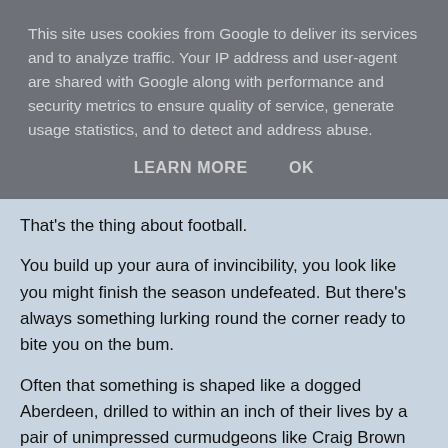This site uses cookies from Google to deliver its services and to analyze traffic. Your IP address and user-agent are shared with Google along with performance and security metrics to ensure quality of service, generate usage statistics, and to detect and address abuse.
LEARN MORE   OK
That's the thing about football.
You build up your aura of invincibility, you look like you might finish the season undefeated. But there's always something lurking round the corner ready to bite you on the bum.
Often that something is shaped like a dogged Aberdeen, drilled to within an inch of their lives by a pair of unimpressed curmudgeons like Craig Brown and Archie Knox.
That's the way soccer's cookie crumbles.
But the treble chase is still on, a tricky quarter final trip to Tynecastle with the line...